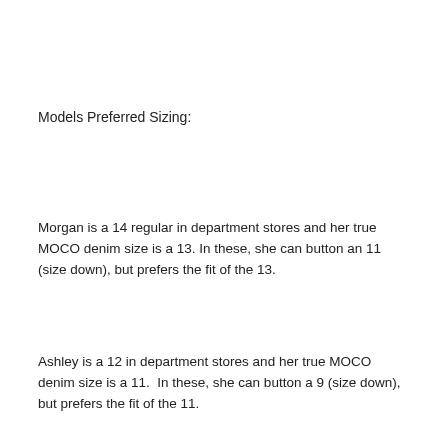Models Preferred Sizing:
Morgan is a 14 regular in department stores and her true MOCO denim size is a 13. In these, she can button an 11 (size down), but prefers the fit of the 13.
Ashley is a 12 in department stores and her true MOCO denim size is a 11.  In these, she can button a 9 (size down), but prefers the fit of the 11.